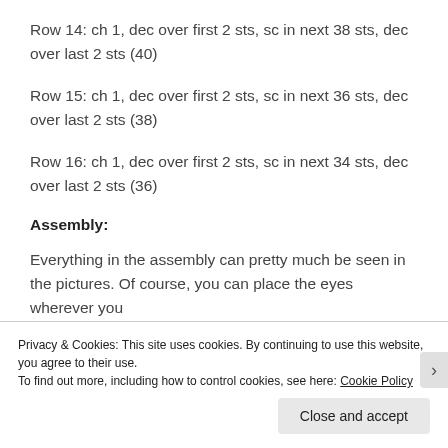Row 14: ch 1, dec over first 2 sts, sc in next 38 sts, dec over last 2 sts (40)
Row 15: ch 1, dec over first 2 sts, sc in next 36 sts, dec over last 2 sts (38)
Row 16: ch 1, dec over first 2 sts, sc in next 34 sts, dec over last 2 sts (36)
Assembly:
Everything in the assembly can pretty much be seen in the pictures. Of course, you can place the eyes wherever you
Privacy & Cookies: This site uses cookies. By continuing to use this website, you agree to their use.
To find out more, including how to control cookies, see here: Cookie Policy
Close and accept